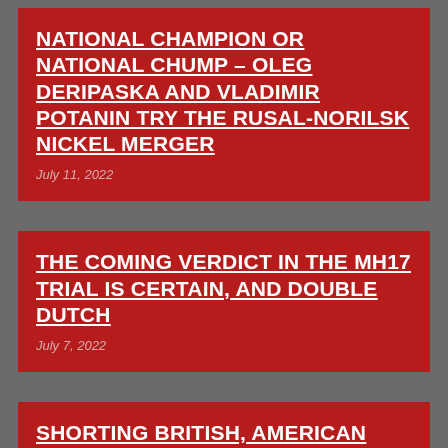NATIONAL CHAMPION OR NATIONAL CHUMP – OLEG DERIPASKA AND VLADIMIR POTANIN TRY THE RUSAL-NORILSK NICKEL MERGER
July 11, 2022
THE COMING VERDICT IN THE MH17 TRIAL IS CERTAIN, AND DOUBLE DUTCH
July 7, 2022
SHORTING BRITISH, AMERICAN AND BALTIC INTELLIGENCE – GOING LONG ON VLADIMIR PUTIN